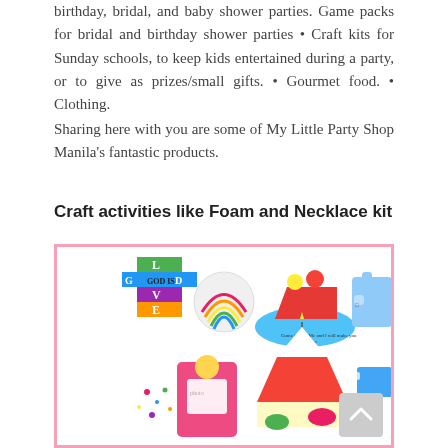birthday, bridal, and baby shower parties. Game packs for bridal and birthday shower parties • Craft kits for Sunday schools, to keep kids entertained during a party, or to give as prizes/small gifts. • Gourmet food. • Clothing.
Sharing here with you are some of My Little Party Shop Manila's fantastic products.
Craft activities like Foam and Necklace kit
[Figure (photo): A pink-bordered image showing various foam craft kit products for children: a colorful cross with letters G, O, D, L, V, E; a circular foam craft; children in a boat scene; a foam puzzle piece; a princess photo frame; a carousel/circus tent scene; and other craft items.]